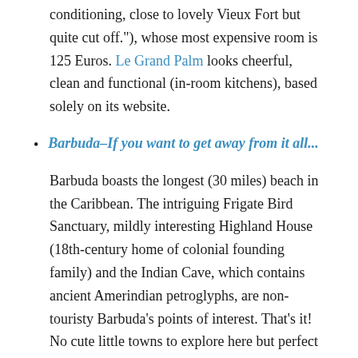conditioning, close to lovely Vieux Fort but quite cut off."), whose most expensive room is 125 Euros. Le Grand Palm looks cheerful, clean and functional (in-room kitchens), based solely on its website.
Barbuda–If you want to get away from it all...
Barbuda boasts the longest (30 miles) beach in the Caribbean. The intriguing Frigate Bird Sanctuary, mildly interesting Highland House (18th-century home of colonial founding family) and the Indian Cave, which contains ancient Amerindian petroglyphs, are non-touristy Barbuda's points of interest. That's it! No cute little towns to explore here but perfect if you want to laze around your handsome hotel bungalow located on an exceptional white sand beach with beautiful water and some books. Barbuda's one nice hotel, the Barbuda